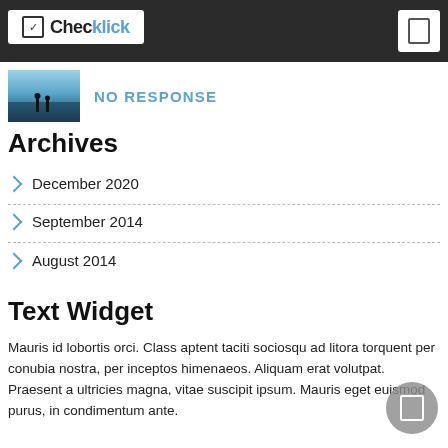Checklick
[Figure (photo): Small thumbnail of a misty lake or sea scene with two silhouetted figures]
No response
Archives
December 2020
September 2014
August 2014
Text Widget
Mauris id lobortis orci. Class aptent taciti sociosqu ad litora torquent per conubia nostra, per inceptos himenaeos. Aliquam erat volutpat. Praesent a ultricies magna, vitae suscipit ipsum. Mauris eget euismod purus, in condimentum ante.